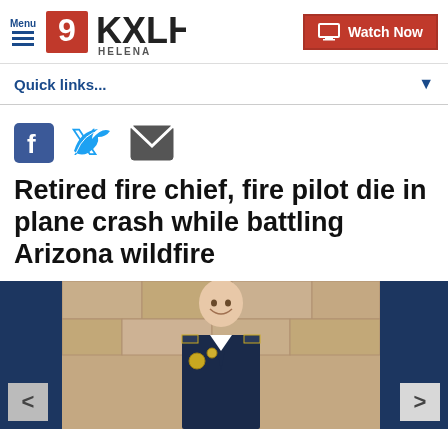Menu | 9KXLH HELENA | Watch Now
Quick links...
[Figure (other): Social sharing icons: Facebook, Twitter, Email]
Retired fire chief, fire pilot die in plane crash while battling Arizona wildfire
[Figure (photo): Photo of a man in a fire chief uniform smiling, with a stone wall background. Carousel with left and right navigation arrows, dark blue side panels.]